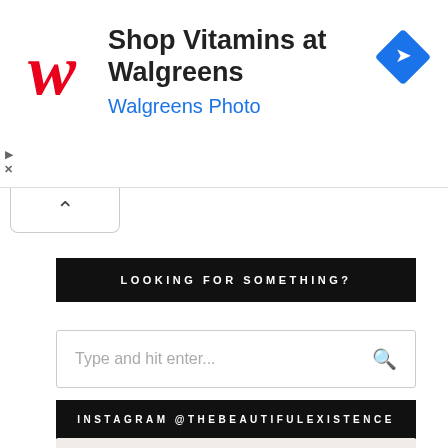[Figure (screenshot): Walgreens advertisement banner with red cursive W logo, headline 'Shop Vitamins at Walgreens', subtitle 'Walgreens Photo' in blue, and a blue diamond navigation icon on the right]
[Figure (screenshot): Collapse/chevron up button below the ad banner]
LOOKING FOR SOMETHING?
[Figure (screenshot): Search input box with placeholder text 'Type and hit enter...' and a magnifying glass icon]
INSTAGRAM @THEBEAUTIFULEXISTENCE
[Figure (photo): Partial view of an Instagram photo preview showing a beige/neutral toned image with dried palm leaves]